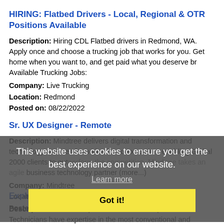HIRING: Flatbed Drivers - Local, Regional & OTR Positions Available
Description: Hiring CDL Flatbed drivers in Redmond, WA. Apply once and choose a trucking job that works for you. Get home when you want to, and get paid what you deserve br Available Trucking Jobs:
Company: Live Trucking
Location: Redmond
Posted on: 08/22/2022
Sr. UX Designer - Remote
Description: Mindtree delivers digital transformation and technology services from ideation to execution, enabling Global 2000 clients to outperform the competition. Mindtree takes an agile, collaborative approach to creating customized solutions across the digital value chain, addressing mobility, big data, cloud, and testing to take clients (more...)
Company: Mindtree
Location: Redmond
Posted on: 08/22/2022
Explosive Ordnance Disposal Technician
Description: ABOUT Explosive Ordnance Disposal EOD Technicians have expertise in the most conventional and unconventional explosives to ensure the secure disposal of explosive weaponry. They